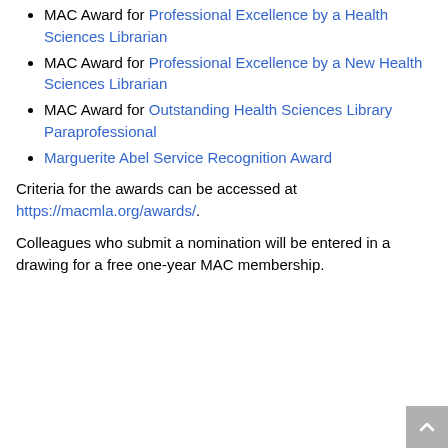MAC Award for Professional Excellence by a Health Sciences Librarian
MAC Award for Professional Excellence by a New Health Sciences Librarian
MAC Award for Outstanding Health Sciences Library Paraprofessional
Marguerite Abel Service Recognition Award
Criteria for the awards can be accessed at https://macmla.org/awards/.
Colleagues who submit a nomination will be entered in a drawing for a free one-year MAC membership.